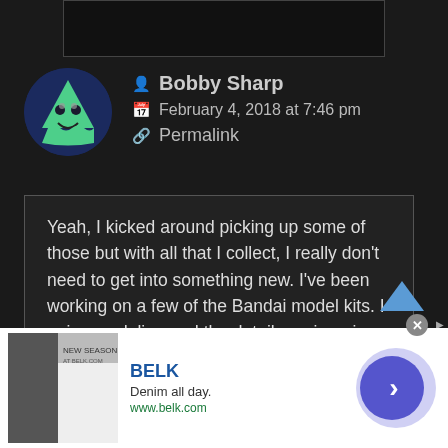[Figure (screenshot): Dark background top box placeholder]
Bobby Sharp
February 4, 2018 at 7:46 pm
Permalink
Yeah, I kicked around picking up some of those but with all that I collect, I really don't need to get into something new. I've been working on a few of the Bandai model kits. I enjoy modeling and the detail, engineering, and overall quality on
[Figure (infographic): BELK advertisement: Denim all day. www.belk.com with navigation arrow button]